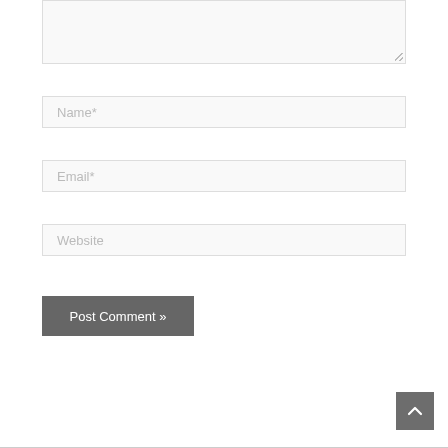[Figure (screenshot): A textarea input box with a resize handle in the bottom-right corner, with light gray background and border]
Name*
Email*
Website
Post Comment »
[Figure (screenshot): A gray scroll-to-top button with an upward-pointing chevron arrow in the bottom-right corner]